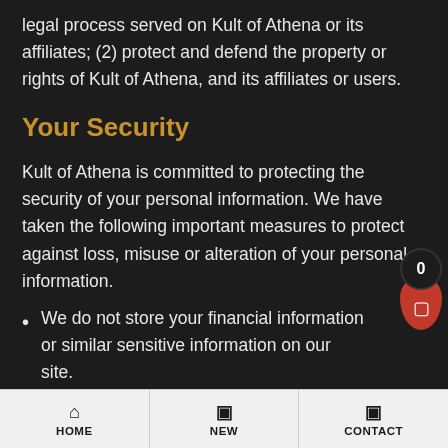legal process served on Kult of Athena or its affiliates; (2) protect and defend the property or rights of Kult of Athena, and its affiliates or users.
Your Security
Kult of Athena is committed to protecting the security of your personal information. We have taken the following important measures to protect against loss, misuse or alteration of your personal information.
We do not store your financial information or similar sensitive information on our site.
The personal data we do store on our system is protected by firewall and password.
HOME | NEW | CONTACT